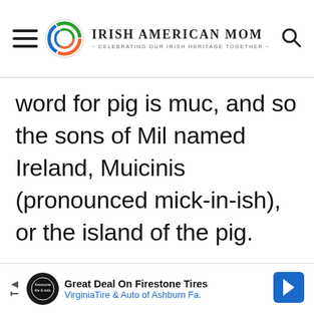Irish American Mom - Celebrating Our Irish Heritage Together
word for pig is muc, and so the sons of Mil named Ireland, Muicinis (pronounced mick-in-ish), or the island of the pig.
[Figure (screenshot): Advertisement banner: Great Deal On Firestone Tires - Virginia Tire & Auto of Ashburn Fa.]